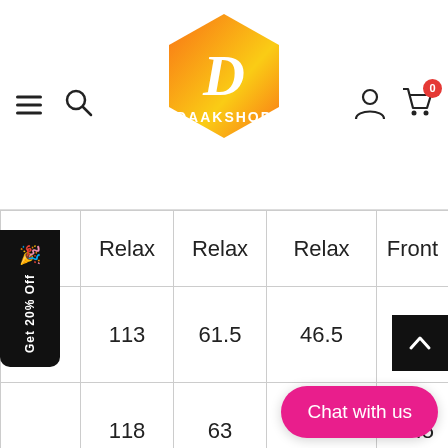[Figure (logo): Daakshop logo: hexagonal shape with orange-to-yellow gradient, letter D in cursive, text DAAKSHOP below]
|  | Relax | Relax | Relax | Front |
| --- | --- | --- | --- | --- |
| S | 113 | 61.5 | 46.5 | 64.5 |
| M | 118 | 63 | 47.5 | 66.5 |
| L | 123 | 64.5 | 48.5 | 68.5 |
| XL | 131 | 66.7 | 49.5 | 70.5 |